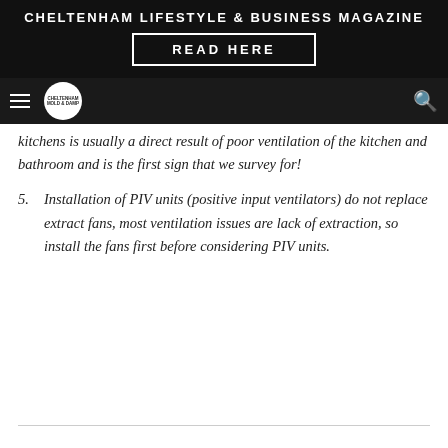CHELTENHAM LIFESTYLE & BUSINESS MAGAZINE
READ HERE
kitchens is usually a direct result of poor ventilation of the kitchen and bathroom and is the first sign that we survey for!
5. Installation of PIV units (positive input ventilators) do not replace extract fans, most ventilation issues are lack of extraction, so install the fans first before considering PIV units.